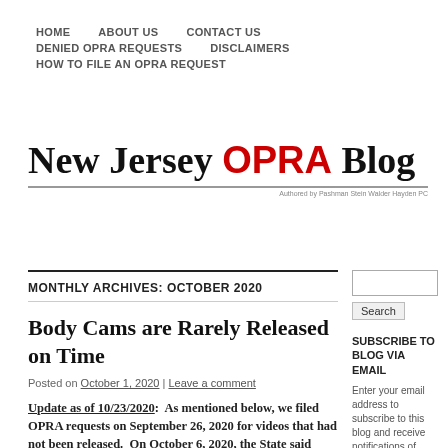HOME | ABOUT US | CONTACT US | DENIED OPRA REQUESTS | DISCLAIMERS | HOW TO FILE AN OPRA REQUEST
[Figure (logo): New Jersey OPRA Blog logo with 'OPRA' in red, authored by Pashman Stein Walder Hayden PC]
MONTHLY ARCHIVES: OCTOBER 2020
Body Cams are Rarely Released on Time
Posted on October 1, 2020 | Leave a comment
Update as of 10/23/2020: As mentioned below, we filed OPRA requests on September 26, 2020 for videos that had not been released. On October 6, 2020, the State said
SUBSCRIBE TO BLOG VIA EMAIL
Enter your email address to subscribe to this blog and receive notifications of new posts by email.
Email Address